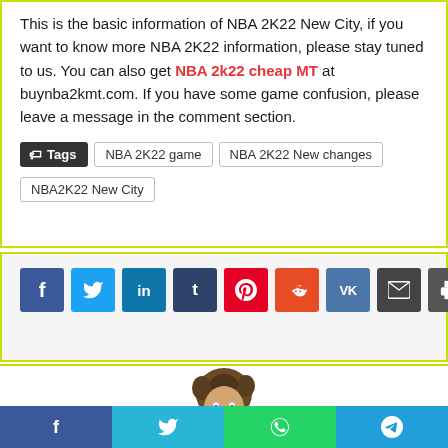This is the basic information of NBA 2K22 New City, if you want to know more NBA 2K22 information, please stay tuned to us. You can also get NBA 2k22 cheap MT at buynba2kmt.com. If you have some game confusion, please leave a message in the comment section.
Tags: NBA 2K22 game | NBA 2K22 New changes | NBA2K22 New City
[Figure (infographic): Row of social media share buttons: Facebook (blue), Twitter (light blue), LinkedIn (dark blue), Tumblr (dark navy), Pinterest (red), Reddit (orange-red), VK (steel blue), Email (dark grey), Print (grey)]
[Figure (photo): Partial photo of a smiling man with curly hair, cropped at the bottom of the page]
[Figure (infographic): Bottom share bar with four buttons: Facebook (dark blue), Twitter (cyan), WhatsApp (green), Telegram (blue)]